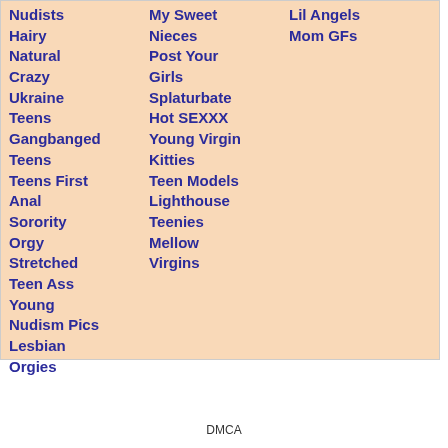Nudists
Hairy
Natural
Crazy
Ukraine
Teens
Gangbanged Teens
Teens First Anal
Sorority Orgy
Stretched Teen Ass
Young
Nudism Pics
Lesbian Orgies
My Sweet Nieces
Post Your Girls
Splaturbate
Hot SEXXX
Young Virgin Kitties
Teen Models
Lighthouse Teenies
Mellow Virgins
Lil Angels
Mom GFs
DMCA